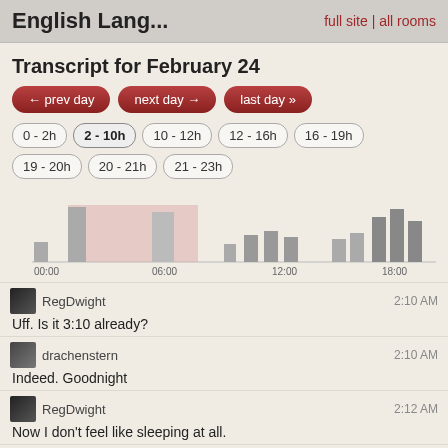English Lang... | full site | all rooms
Transcript for February 24
← prev day | next day → | last day »
0 - 2h | 2 - 10h | 10 - 12h | 12 - 16h | 16 - 19h | 19 - 20h | 20 - 21h | 21 - 23h
[Figure (bar-chart): Activity chart]
RegDwight 2:10 AM
Uff. Is it 3:10 already?
drachenstern 2:10 AM
Indeed. Goodnight
RegDwight 2:12 AM
Now I don't feel like sleeping at all.
drachenstern 2:12 AM
haha
RegDwight 2:13 AM